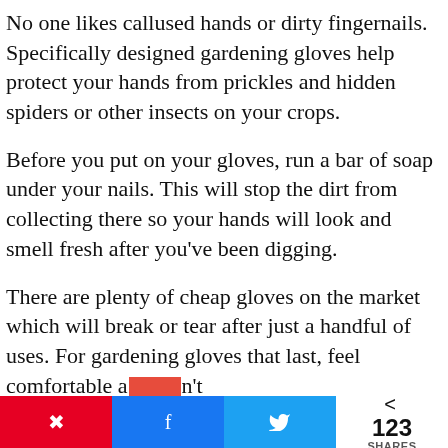No one likes callused hands or dirty fingernails. Specifically designed gardening gloves help protect your hands from prickles and hidden spiders or other insects on your crops.
Before you put on your gloves, run a bar of soap under your nails. This will stop the dirt from collecting there so your hands will look and smell fresh after you've been digging.
There are plenty of cheap gloves on the market which will break or tear after just a handful of uses. For gardening gloves that last, feel comfortable and don't [redacted]